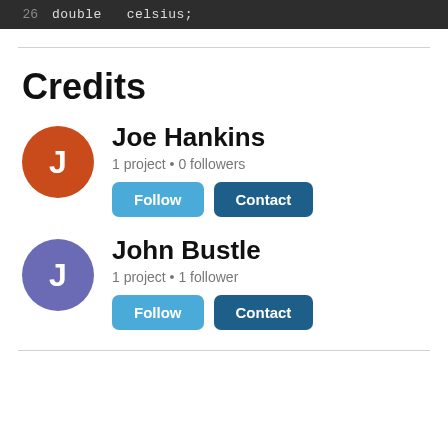26    double   celsius;
Credits
Joe Hankins
1 project • 0 followers
John Bustle
1 project • 1 follower